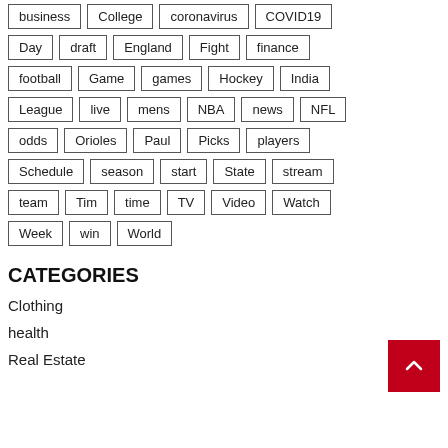business
College
coronavirus
COVID19
Day
draft
England
Fight
finance
football
Game
games
Hockey
India
League
live
mens
NBA
news
NFL
odds
Orioles
Paul
Picks
players
Schedule
season
start
State
stream
team
Tim
time
TV
Video
Watch
Week
win
World
CATEGORIES
Clothing
health
Real Estate